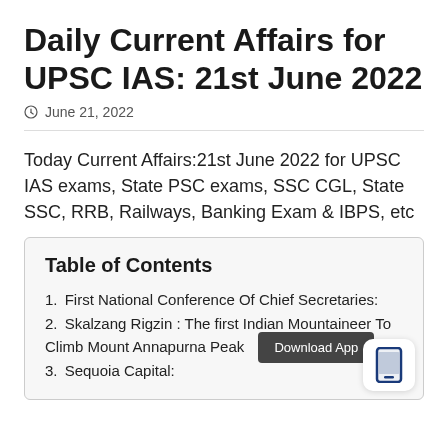Daily Current Affairs for UPSC IAS: 21st June 2022
June 21, 2022
Today Current Affairs:21st June 2022 for UPSC IAS exams, State PSC exams, SSC CGL, State SSC, RRB, Railways, Banking Exam & IBPS, etc
Table of Contents
1. First National Conference Of Chief Secretaries:
2. Skalzang Rigzin : The first Indian Mountaineer To Climb Mount Annapurna Peak
3. Sequoia Capital: